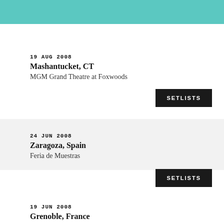19 AUG 2008
Mashantucket, CT
MGM Grand Theatre at Foxwoods
SETLISTS
24 JUN 2008
Zaragoza, Spain
Feria de Muestras
SETLISTS
19 JUN 2008
Grenoble, France
Palais des Sports